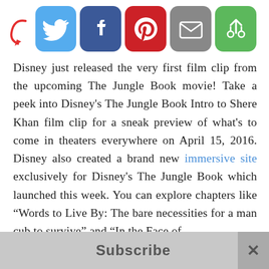[Figure (infographic): Social sharing bar with arrow and icons: Twitter (blue bird), Facebook (blue f), Pinterest (red P), Email (grey envelope), Other (green recycle/share icon)]
Disney just released the very first film clip from the upcoming The Jungle Book movie! Take a peek into Disney's The Jungle Book Intro to Shere Khan film clip for a sneak preview of what's to come in theaters everywhere on April 15, 2016. Disney also created a brand new immersive site exclusively for Disney's The Jungle Book which launched this week. You can explore chapters like “Words to Live By: The bare necessities for a man cub to survive” and “In the Face of
Subscribe ×